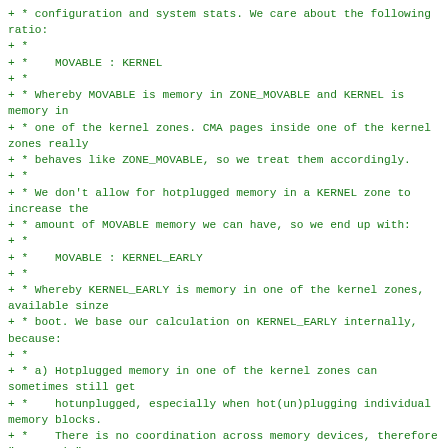+ * configuration and system stats. We care about the following ratio:
+ *
+ *    MOVABLE : KERNEL
+ *
+ * Whereby MOVABLE is memory in ZONE_MOVABLE and KERNEL is memory in
+ * one of the kernel zones. CMA pages inside one of the kernel zones really
+ * behaves like ZONE_MOVABLE, so we treat them accordingly.
+ *
+ * We don't allow for hotplugged memory in a KERNEL zone to increase the
+ * amount of MOVABLE memory we can have, so we end up with:
+ *
+ *    MOVABLE : KERNEL_EARLY
+ *
+ * Whereby KERNEL_EARLY is memory in one of the kernel zones, available sinze
+ * boot. We base our calculation on KERNEL_EARLY internally, because:
+ *
+ * a) Hotplugged memory in one of the kernel zones can sometimes still get
+ *    hotunplugged, especially when hot(un)plugging individual memory blocks.
+ *    There is no coordination across memory devices, therefore "automatic"